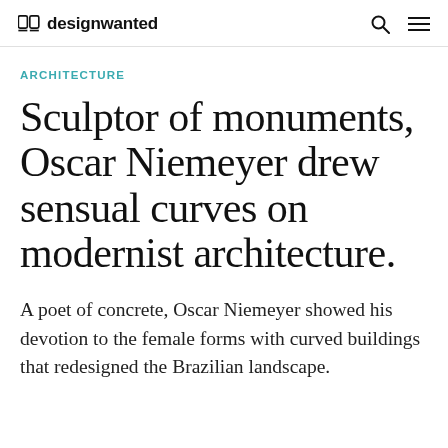designwanted
ARCHITECTURE
Sculptor of monuments, Oscar Niemeyer drew sensual curves on modernist architecture.
A poet of concrete, Oscar Niemeyer showed his devotion to the female forms with curved buildings that redesigned the Brazilian landscape.